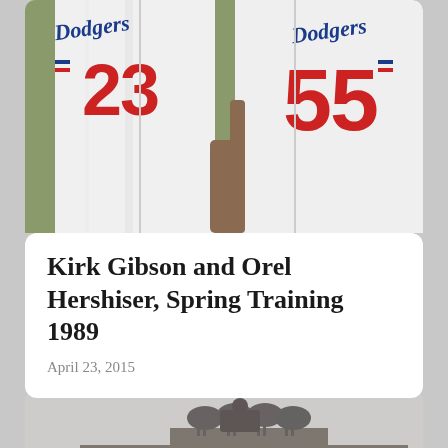[Figure (photo): Two baseball players in white Dodgers uniforms with numbers 23 and 55, photographed from the torso down during Spring Training]
Kirk Gibson and Orel Hershiser, Spring Training 1989
April 23, 2015
[Figure (photo): Black and white photograph of the Brandenburg Gate in Berlin, with a quadriga sculpture on top]